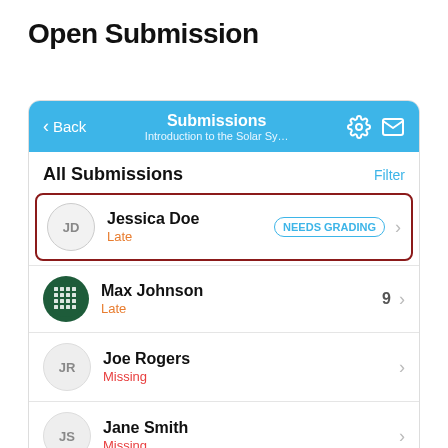Open Submission
[Figure (screenshot): Mobile app screenshot showing a Submissions screen for 'Introduction to the Solar Sy...' with a list of student submissions: Jessica Doe (Late, NEEDS GRADING, highlighted), Max Johnson (Late, score 9), Joe Rogers (Missing), Jane Smith (Missing). Navigation bar in blue with Back button, gear icon, and envelope icon.]